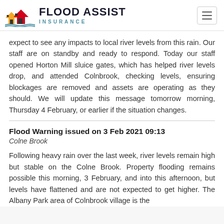FLOOD ASSIST INSURANCE
expect to see any impacts to local river levels from this rain. Our staff are on standby and ready to respond. Today our staff opened Horton Mill sluice gates, which has helped river levels drop, and attended Colnbrook, checking levels, ensuring blockages are removed and assets are operating as they should. We will update this message tomorrow morning, Thursday 4 February, or earlier if the situation changes.
Flood Warning issued on 3 Feb 2021 09:13
Colne Brook
Following heavy rain over the last week, river levels remain high but stable on the Colne Brook. Property flooding remains possible this morning, 3 February, and into this afternoon, but levels have flattened and are not expected to get higher. The Albany Park area of Colnbrook village is the